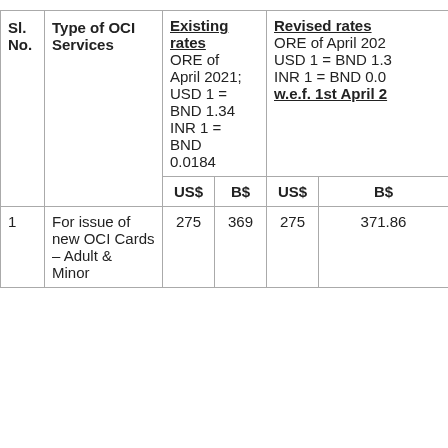| Sl. No. | Type of OCI Services | Existing rates ORE of April 2021; USD 1 = BND 1.34 INR 1 = BND 0.0184 US$ | B$ | Revised rates ORE of April 202... USD 1 = BND 1.3... INR 1 = BND 0.0... w.e.f. 1st April 2... US$ | B$ |
| --- | --- | --- | --- | --- | --- |
| 1 | For issue of new OCI Cards – Adult & Minor | 275 | 369 | 275 | 371.86 |